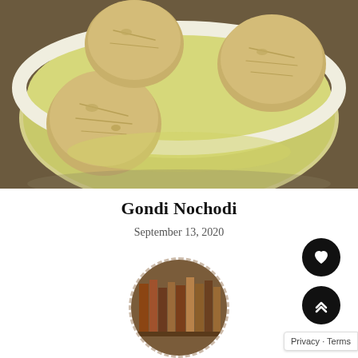[Figure (photo): Close-up photo of three matzo ball dumplings floating in light golden chicken broth in a white bowl, viewed from above at a slight angle.]
Gondi Nochodi
September 13, 2020
[Figure (photo): Circular avatar/profile photo with dashed orange border showing a partial image of books on shelves.]
Privacy · Terms